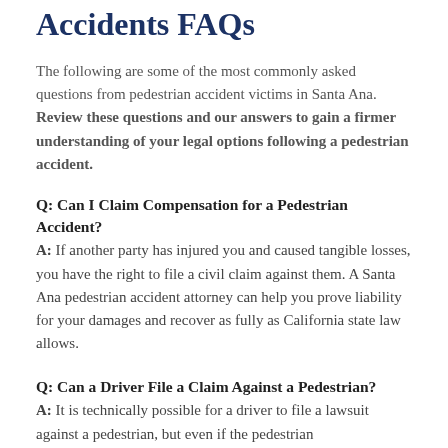Orange County Pedestrian Accidents FAQs
The following are some of the most commonly asked questions from pedestrian accident victims in Santa Ana. Review these questions and our answers to gain a firmer understanding of your legal options following a pedestrian accident.
Q: Can I Claim Compensation for a Pedestrian Accident?
A: If another party has injured you and caused tangible losses, you have the right to file a civil claim against them. A Santa Ana pedestrian accident attorney can help you prove liability for your damages and recover as fully as California state law allows.
Q: Can a Driver File a Claim Against a Pedestrian?
A: It is technically possible for a driver to file a lawsuit against a pedestrian, but even if the pedestrian...